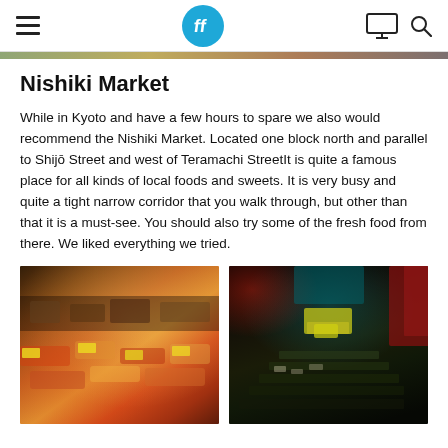[Navigation bar with hamburger menu, logo, monitor icon, search icon]
Nishiki Market
While in Kyoto and have a few hours to spare we also would recommend the Nishiki Market. Located one block north and parallel to Shijō Street and west of Teramachi StreetIt is quite a famous place for all kinds of local foods and sweets. It is very busy and quite a tight narrow corridor that you walk through, but other than that it is a must-see. You should also try some of the fresh food from there. We liked everything we tried.
[Figure (photo): Market stall with colorful local foods and goods on display with price tags]
[Figure (photo): Dark narrow market corridor with stalls selling fish and goods, yellow price signs visible]